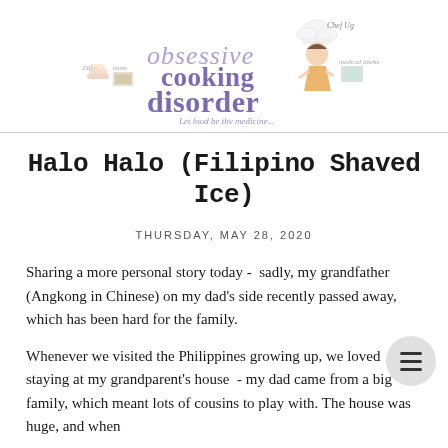[Figure (logo): Obsessive Cooking Disorder blog logo with illustrated chef character, cooking-related icons, and tagline 'Let food be thy medicine...']
Halo Halo (Filipino Shaved Ice)
THURSDAY, MAY 28, 2020
Sharing a more personal story today -  sadly, my grandfather (Angkong in Chinese) on my dad's side recently passed away, which has been hard for the family.
Whenever we visited the Philippines growing up, we loved staying at my grandparent's house  - my dad came from a big family, which meant lots of cousins to play with. The house was huge, and when